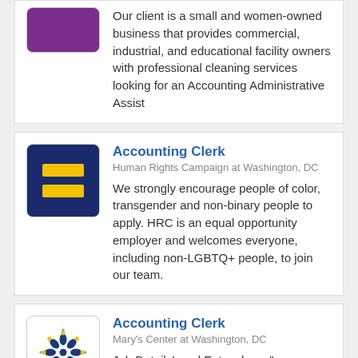Our client is a small and women-owned business that provides commercial, industrial, and educational facility owners with professional cleaning services looking for an Accounting Administrative Assist
Accounting Clerk
Human Rights Campaign at Washington, DC
We strongly encourage people of color, transgender and non-binary people to apply. HRC is an equal opportunity employer and welcomes everyone, including non-LGBTQ+ people, to join our team.
Accounting Clerk
Mary's Center at Washington, DC
Job DetailsLevel Entry class="row